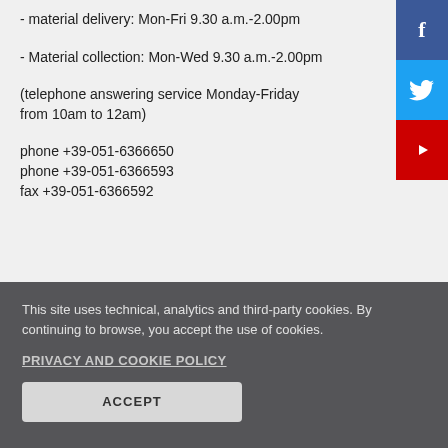- material delivery: Mon-Fri 9.30 a.m.-2.00pm
- Material collection: Mon-Wed 9.30 a.m.-2.00pm
(telephone answering service Monday-Friday from 10am to 12am)
phone +39-051-6366650
phone +39-051-6366593
fax +39-051-6366592
This site uses technical, analytics and third-party cookies. By continuing to browse, you accept the use of cookies.
PRIVACY AND COOKIE POLICY
ACCEPT